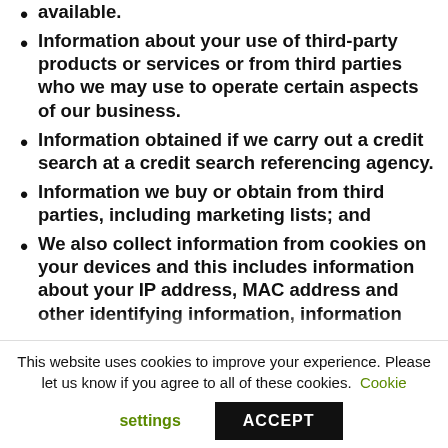available.
Information about your use of third-party products or services or from third parties who we may use to operate certain aspects of our business.
Information obtained if we carry out a credit search at a credit search referencing agency.
Information we buy or obtain from third parties, including marketing lists; and
We also collect information from cookies on your devices and this includes information about your IP address, MAC address and other identifying information, information
This website uses cookies to improve your experience. Please let us know if you agree to all of these cookies. Cookie settings ACCEPT